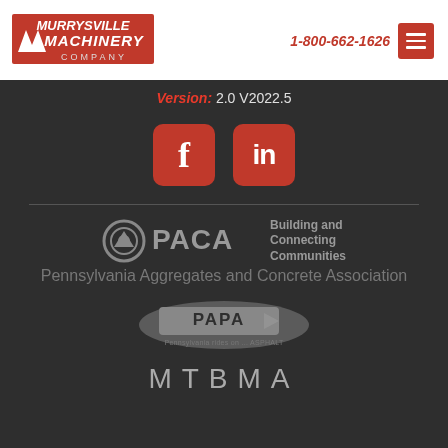[Figure (logo): Murrysville Machinery Company logo in red and black]
1-800-662-1626
[Figure (logo): Red hamburger menu icon button]
Version: 2.0 V2022.5
[Figure (logo): Facebook social media icon - red rounded square with letter f]
[Figure (logo): LinkedIn social media icon - red rounded square with 'in']
[Figure (logo): PACA - Pennsylvania Aggregates and Concrete Association logo with text 'Building and Connecting Communities']
[Figure (logo): PAPA - Pennsylvania rides on... ASPHALT logo]
MTBMA